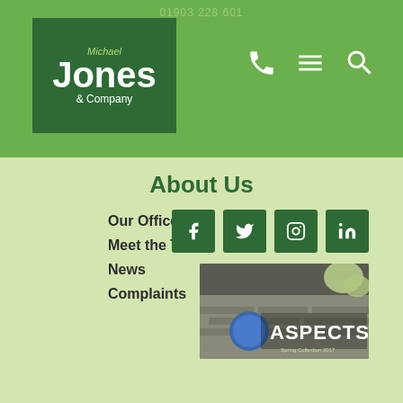01903 228 601
[Figure (logo): Michael Jones & Company logo - dark green box with company name in white and yellow]
[Figure (infographic): Phone, hamburger menu, and search icons in white on green header bar]
About Us
Our Offices
Meet the Team
News
Complaints
[Figure (infographic): Social media icons: Facebook, Twitter, Instagram, LinkedIn - white on dark green squares]
[Figure (photo): ASPECTS magazine cover showing a stone building with blue circular window and text 'Spring Collection 2017']
This website uses cookies to ensure you get the best experience on our website.
Learn more
Got it!